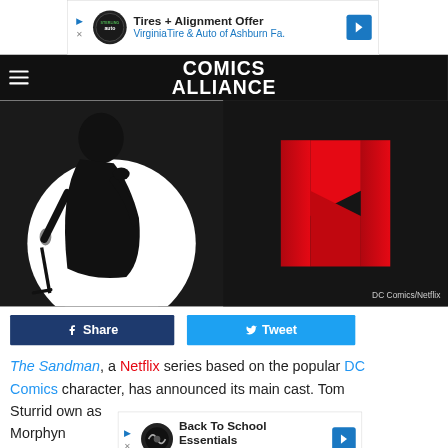[Figure (screenshot): Advertisement banner: Tires + Alignment Offer, Virginia Tire & Auto of Ashburn Fa.]
[Figure (logo): Comics Alliance website header logo on black bar with hamburger menu]
[Figure (photo): Hero image composite: left half shows black and white silhouette of a figure holding a microphone stand, right half shows Netflix red N logo on dark background. Credit: DC Comics/Netflix]
Share
Tweet
The Sandman, a Netflix series based on the popular DC Comics character, has announced its main cast. Tom Sturrid... own as Morph... yn
[Figure (screenshot): Advertisement banner: Back To School Essentials, Leesburg Premium Outlets]